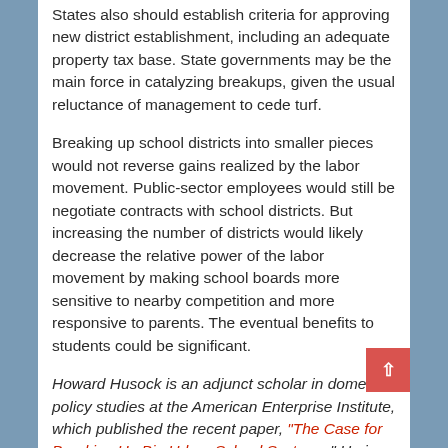States also should establish criteria for approving new district establishment, including an adequate property tax base. State governments may be the main force in catalyzing breakups, given the usual reluctance of management to cede turf.
Breaking up school districts into smaller pieces would not reverse gains realized by the labor movement. Public-sector employees would still be negotiate contracts with school districts. But increasing the number of districts would likely decrease the relative power of the labor movement by making school boards more sensitive to nearby competition and more responsive to parents. The eventual benefits to students could be significant.
Howard Husock is an adjunct scholar in domestic policy studies at the American Enterprise Institute, which published the recent paper, "The Case for Breaking Up Big Urban School Systems." He is concurrently an executive senior fellow with the Philanthropy Roundtable.
The post Break Up Urban School Districts appeared first